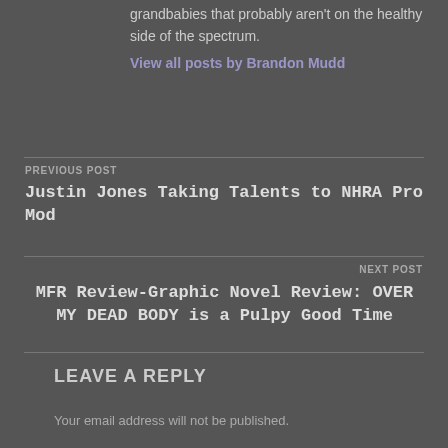grandbabies that probably aren't on the healthy side of the spectrum.
View all posts by Brandon Mudd
PREVIOUS POST
Justin Jones Taking Talents to NHRA Pro Mod
NEXT POST
MFR Review-Graphic Novel Review: OVER MY DEAD BODY is a Pulpy Good Time
LEAVE A REPLY
Your email address will not be published.